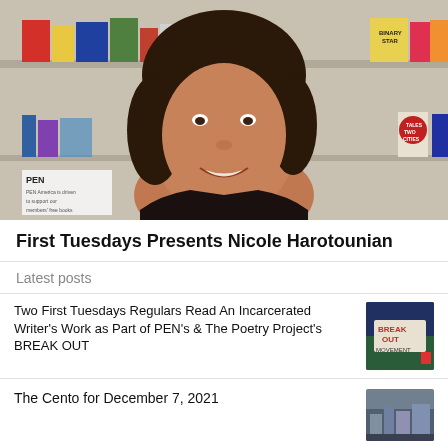[Figure (photo): A woman with short dark curly hair smiling, standing in front of a bookshelf display with various book covers including 'Binary Star' and 'Tales of Two Cities'. A PEN America sign is visible in the lower left.]
First Tuesdays Presents Nicole Harotounian
Latest posts
Two First Tuesdays Regulars Read An Incarcerated Writer's Work as Part of PEN's & The Poetry Project's BREAK OUT
The Cento for December 7, 2021